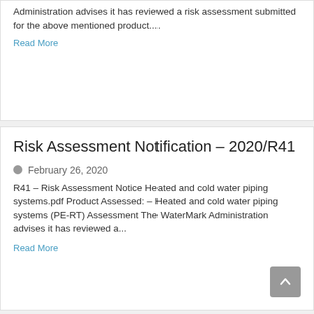Administration advises it has reviewed a risk assessment submitted for the above mentioned product....
Read More
Risk Assessment Notification – 2020/R41
February 26, 2020
R41 – Risk Assessment Notice Heated and cold water piping systems.pdf Product Assessed: – Heated and cold water piping systems (PE-RT) Assessment The WaterMark Administration advises it has reviewed a...
Read More